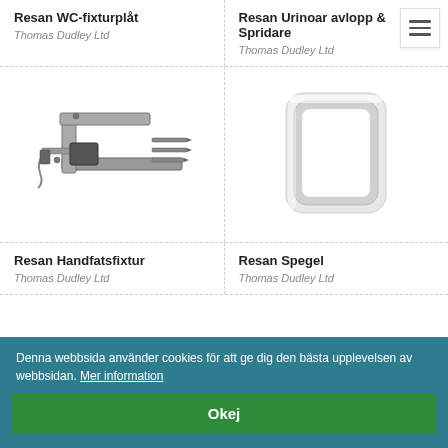Resan WC-fixturplåt
Thomas Dudley Ltd
Resan Urinoar avlopp & Spridare
Thomas Dudley Ltd
[Figure (photo): Resan Handfatsfixtur - a metal bracket/fixture assembly with prongs, grey metallic]
[Figure (photo): Resan Spegel - a white rectangular mirror frame with rounded corners]
Resan Handfatsfixtur
Thomas Dudley Ltd
Resan Spegel
Thomas Dudley Ltd
Denna webbsida använder cookies för att ge dig den bästa upplevelsen av webbsidan. Mer information
Okej